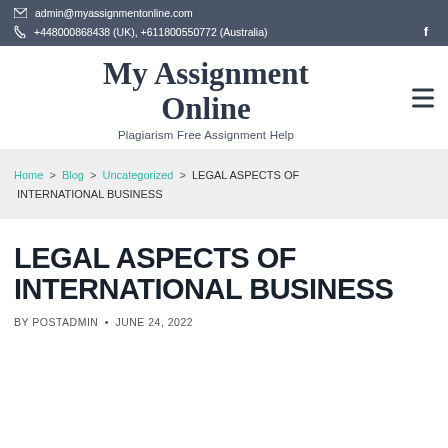admin@myassignmentonline.com
+448000868438 (UK), +611800550772 (Australia)
My Assignment Online
Plagiarism Free Assignment Help
Home > Blog > Uncategorized > LEGAL ASPECTS OF INTERNATIONAL BUSINESS
LEGAL ASPECTS OF INTERNATIONAL BUSINESS
BY POSTADMIN • JUNE 24, 2022